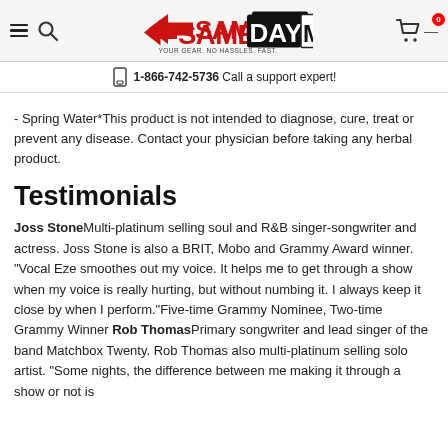Same Day Music — YOUR GEAR. NO HASSLES. FAST.
1-866-742-5736  Call a support expert!
- Spring Water*This product is not intended to diagnose, cure, treat or prevent any disease. Contact your physician before taking any herbal product.
Testimonials
Joss Stone Multi-platinum selling soul and R&B singer-songwriter and actress. Joss Stone is also a BRIT, Mobo and Grammy Award winner. "Vocal Eze smoothes out my voice. It helps me to get through a show when my voice is really hurting, but without numbing it. I always keep it close by when I perform."Five-time Grammy Nominee, Two-time Grammy Winner Rob Thomas Primary songwriter and lead singer of the band Matchbox Twenty. Rob Thomas also multi-platinum selling solo artist. "Some nights, the difference between me making it through a show or not is